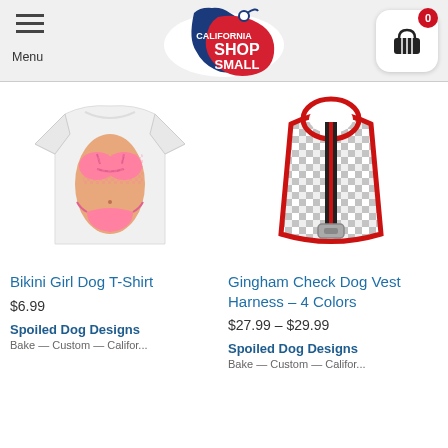California Shop Small — Menu | Cart (0)
[Figure (photo): White dog t-shirt with bikini girl graphic (pink bikini top and bottom printed on shirt)]
Bikini Girl Dog T-Shirt
$6.99
Spoiled Dog Designs
Bake — Custom — Califor...
[Figure (photo): Black and white gingham check dog vest harness with red trim and black/red stripe accent]
Gingham Check Dog Vest Harness – 4 Colors
$27.99 – $29.99
Spoiled Dog Designs
Bake — Custom — Califor...